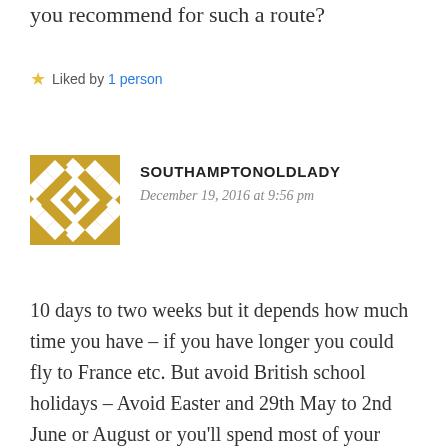you recommend for such a route?
Liked by 1 person
[Figure (logo): Gold geometric diamond/snowflake pattern avatar for user SOUTHAMPTONOLDLADY]
SOUTHAMPTONOLDLADY
December 19, 2016 at 9:56 pm
10 days to two weeks but it depends how much time you have – if you have longer you could fly to France etc. But avoid British school holidays – Avoid Easter and 29th May to 2nd June or August or you'll spend most of your time in traffic in 2017. Best is between May 5th – 28th and June 7th to the middle of